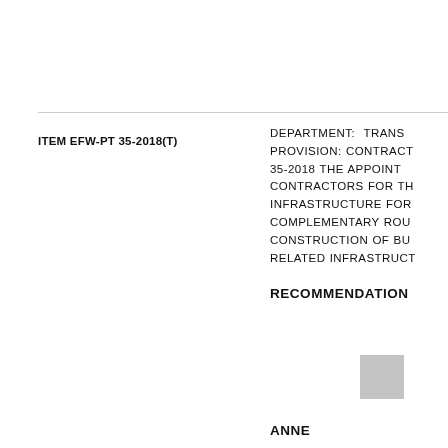ITEM EFW-PT 35-2018(T)
DEPARTMENT: TRANS PROVISION: CONTRACT 35-2018 THE APPOINT CONTRACTORS FOR TH INFRASTRUCTURE FOR COMPLEMENTARY ROU CONSTRUCTION OF BU RELATED INFRASTRUCT
RECOMMENDATION
ANNE